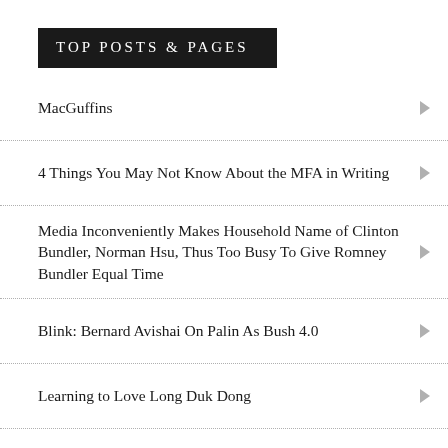TOP POSTS & PAGES
MacGuffins
4 Things You May Not Know About the MFA in Writing
Media Inconveniently Makes Household Name of Clinton Bundler, Norman Hsu, Thus Too Busy To Give Romney Bundler Equal Time
Blink: Bernard Avishai On Palin As Bush 4.0
Learning to Love Long Duk Dong
January 8th, 2013